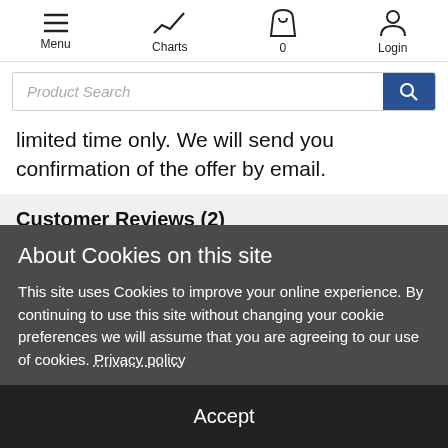Menu | Charts | 0 | Login
limited time only. We will send you confirmation of the offer by email.
Customer Reviews (2)
About Cookies on this site
This site uses Cookies to improve your online experience. By continuing to use this site without changing your cookie preferences we will assume that you are agreeing to our use of cookies. Privacy policy
Accept